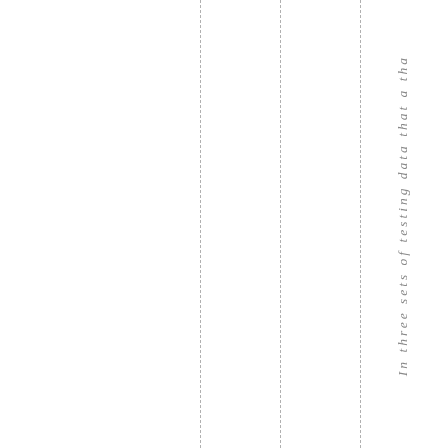In three sets of testing data that a tha